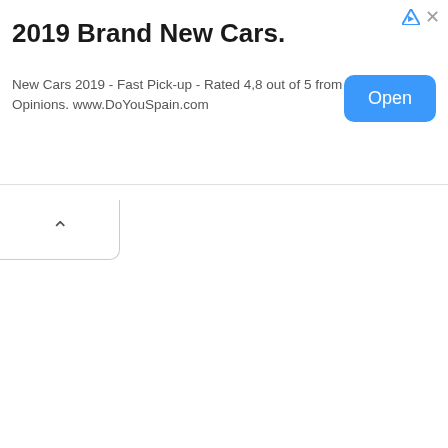[Figure (screenshot): Web advertisement banner for DoYouSpain.com featuring 2019 Brand New Cars with an Open button]
2019 Brand New Cars.
New Cars 2019 - Fast Pick-up - Rated 4,8 out of 5 from 9,949 Opinions. www.DoYouSpain.com